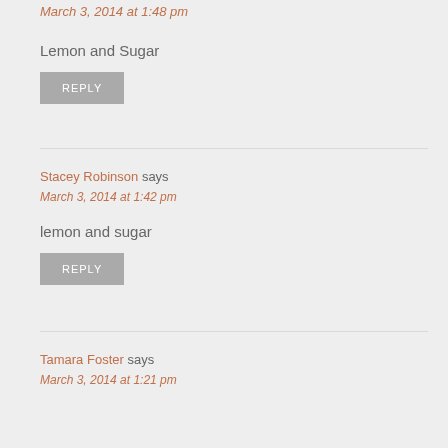Elaine Jones says
March 3, 2014 at 1:48 pm
Lemon and Sugar
REPLY
Stacey Robinson says
March 3, 2014 at 1:42 pm
lemon and sugar
REPLY
Tamara Foster says
March 3, 2014 at 1:21 pm